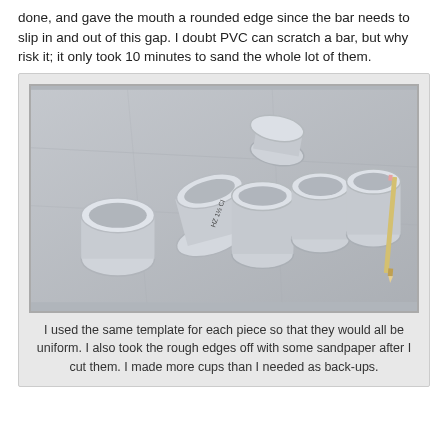done, and gave the mouth a rounded edge since the bar needs to slip in and out of this gap. I doubt PVC can scratch a bar, but why risk it; it only took 10 minutes to sand the whole lot of them.
[Figure (photo): Photo of multiple PVC pipe pieces cut into curved cup shapes, arranged on a concrete surface, with a pencil visible at the right side.]
I used the same template for each piece so that they would all be uniform. I also took the rough edges off with some sandpaper after I cut them. I made more cups than I needed as back-ups.